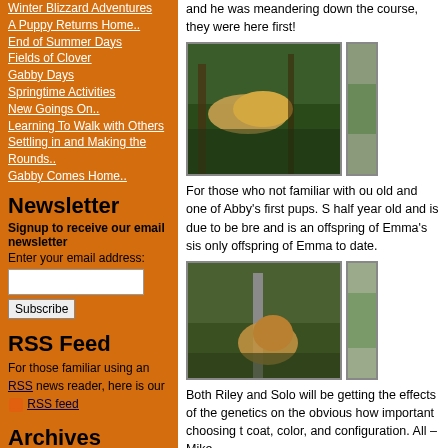Winter Blizzard Adventures
A Puppy Returns Home..
End of Summer Days
Fields of Clover
Gabby Days
Springtime Activities
New Goings On..
Learning To Walk with Others
Settling in and Making the Rounds..
Gabby Comes Home..
Newsletter
Signup to receive our email newsletter
Enter your email address:
RSS Feed
For those familiar using an RSS news reader, here is our RSS feed
Archives
February 2013
October 2012
August 2012
and he was meandering down the course, they were here first!
[Figure (photo): Dog in wooded area with water]
[Figure (photo): Partial photo clipped at right edge]
For those who not familiar with ou old and one of Abby's first pups. S half year old and is due to be bre and is an offspring of Emma's sis only offspring of Emma to date.
[Figure (photo): Dog sitting near tree post in wooded area]
[Figure (photo): Partial photo clipped at right edge]
Both Riley and Solo will be getting the effects of the genetics on the obvious how important choosing t coat, color, and configuration. All – Mike